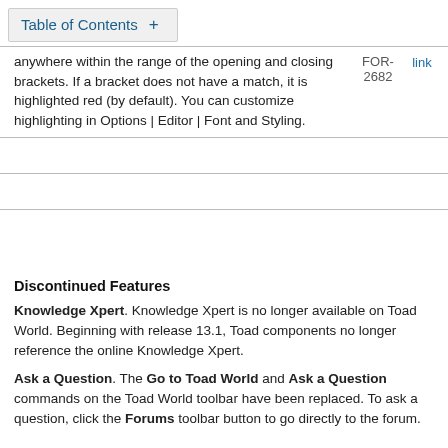Table of Contents +
anywhere within the range of the opening and closing brackets. If a bracket does not have a match, it is highlighted red (by default). You can customize highlighting in Options | Editor | Font and Styling.
Discontinued Features
Knowledge Xpert. Knowledge Xpert is no longer available on Toad World. Beginning with release 13.1, Toad components no longer reference the online Knowledge Xpert.
Ask a Question. The Go to Toad World and Ask a Question commands on the Toad World toolbar have been replaced. To ask a question, click the Forums toolbar button to go directly to the forum.